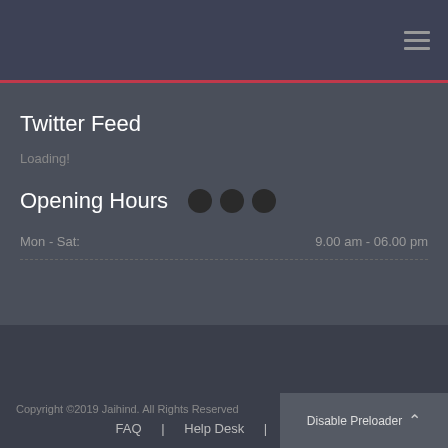Twitter Feed
Loading!
Opening Hours
Mon - Sat:	9.00 am - 06.00 pm
Copyright ©2019 Jaihind. All Rights Reserved
FAQ | Help Desk | Support
Disable Preloader